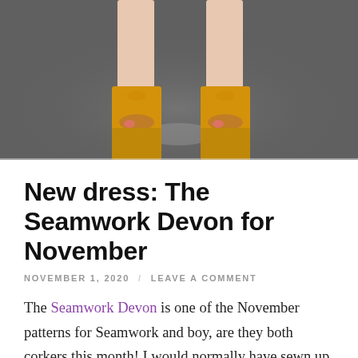[Figure (photo): Close-up photo of a person's feet wearing yellow/golden open-toe mule heels, standing on dark asphalt pavement with a light chalk mark visible.]
New dress: The Seamwork Devon for November
NOVEMBER 1, 2020 / LEAVE A COMMENT
The Seamwork Devon is one of the November patterns for Seamwork and boy, are they both corkers this month! I would normally have sewn up both of them, had I not just finished making a bunch of jackets and coats, but I can tell you I'm really looking forward to seeing what everyone does with the Baz. Maybe I'll come back to it